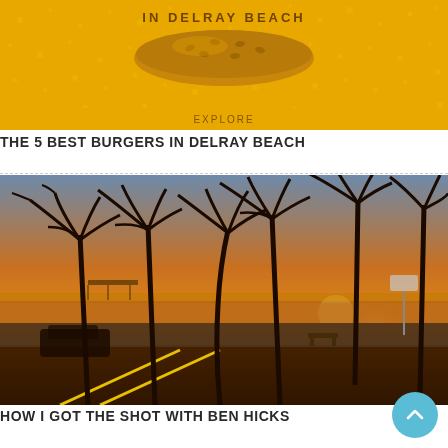[Figure (photo): A golden-yellow promotional banner image showing a burger, text reading 'IN DELRAY BEACH' at top, on a mustard/golden dotted background.]
THE 5 BEST BURGERS IN DELRAY BEACH
[Figure (photo): A dramatic sunset photo at Delray Beach showing silhouettes of tall palm trees against a vivid orange and golden sky, with the beach, ocean, a pier, parked cars, benches, and a road with yellow lane markings in the foreground.]
HOW I GOT THE SHOT WITH BEN HICKS